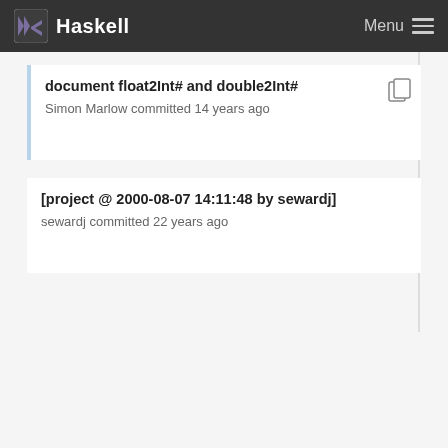Haskell   Menu
document float2Int# and double2Int#
Simon Marlow committed 14 years ago
[project @ 2000-08-07 14:11:48 by sewardj]
sewardj committed 22 years ago